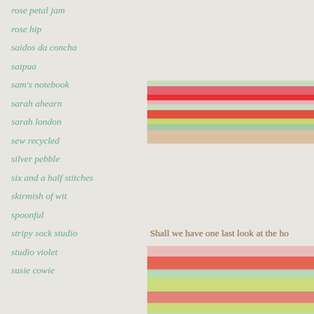rose petal jam
rose hip
saidos da concha
saipua
sam's notebook
sarah ahearn
sarah london
sew recycled
silver pebble
six and a half stitches
skirmish of wit
spoonful
stripy sock studio
studio violet
susie cowie
[Figure (photo): Close-up photo of colorful knitted fabric with red, pink, teal, and yellow-green stripes and pattern details, shown twice (top crop and larger bottom crop)]
Shall we have one last look at the ho